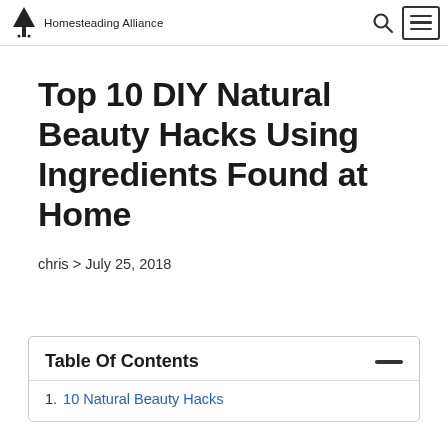Homesteading Alliance
Top 10 DIY Natural Beauty Hacks Using Ingredients Found at Home
chris > July 25, 2018
Table Of Contents
1. 10 Natural Beauty Hacks